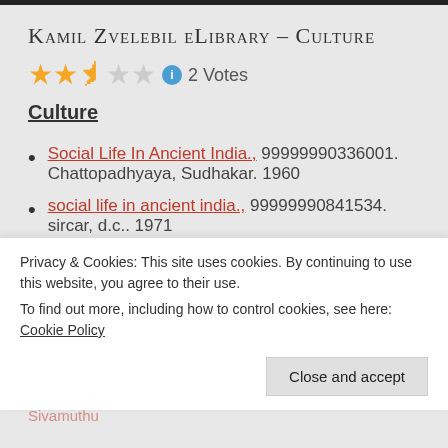Kamil Zvelebil eLibrary – Culture
[Figure (other): Star rating: 2.5 out of 5 stars with info icon and '2 Votes' label]
Culture
Social Life In Ancient India., 99999990336001. Chattopadhyaya, Sudhakar. 1960
social life in ancient india., 99999990841534. sircar, d.c.. 1971
Ancient Indian Social History, 4999010057655
Privacy & Cookies: This site uses cookies. By continuing to use this website, you agree to their use.
To find out more, including how to control cookies, see here: Cookie Policy
Close and accept
Sivamuthu